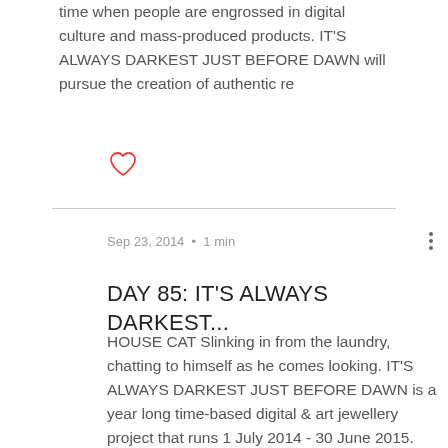time when people are engrossed in digital culture and mass-produced products. IT'S ALWAYS DARKEST JUST BEFORE DAWN will pursue the creation of authentic re
[Figure (illustration): Red heart outline icon (like/favorite button)]
Sep 23, 2014  •  1 min
DAY 85: IT'S ALWAYS DARKEST...
HOUSE CAT Slinking in from the laundry, chatting to himself as he comes looking. IT'S ALWAYS DARKEST JUST BEFORE DAWN is a year long time-based digital & art jewellery project that runs 1 July 2014 - 30 June 2015. The project is a contemporary multi-disciplinary enquiry that explores